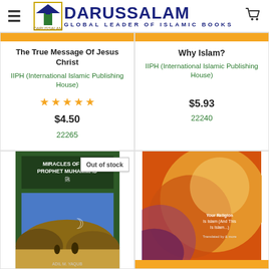[Figure (logo): Darussalam Global Leader of Islamic Books logo with hamburger menu and cart icon]
The True Message Of Jesus Christ
IIPH (International Islamic Publishing House)
$4.50
22265
Why Islam?
IIPH (International Islamic Publishing House)
$5.93
22240
[Figure (photo): Book cover: Miracles of the Prophet Muhammad, green cover with landscape scene]
Out of stock
[Figure (photo): Book cover with golden/orange circular design and text about religion]